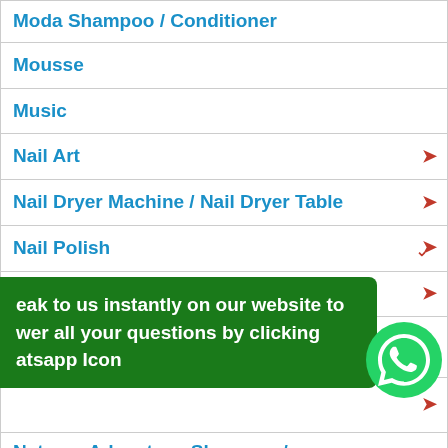| Moda Shampoo / Conditioner |
| Mousse |
| Music |
| Nail Art ▾ |
| Nail Dryer Machine / Nail Dryer Table ▾ |
| Nail Polish ▾ |
| Nail Tables / Furniture ▾ |
| Nail Tek |
| [partial row with chevron] |
| [partial] Natures Advantage Shampoo / |
eak to us instantly on our website to wer all your questions by clicking atsapp Icon